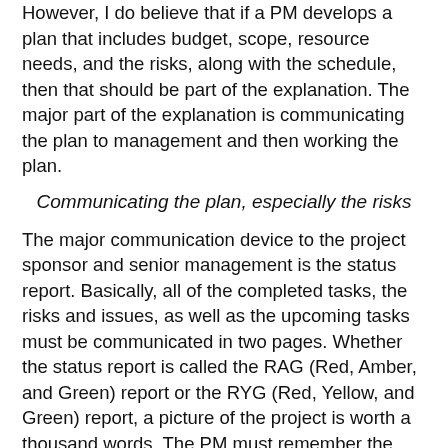However, I do believe that if a PM develops a plan that includes budget, scope, resource needs, and the risks, along with the schedule, then that should be part of the explanation. The major part of the explanation is communicating the plan to management and then working the plan.
Communicating the plan, especially the risks
The major communication device to the project sponsor and senior management is the status report. Basically, all of the completed tasks, the risks and issues, as well as the upcoming tasks must be communicated in two pages. Whether the status report is called the RAG (Red, Amber, and Green) report or the RYG (Red, Yellow, and Green) report, a picture of the project is worth a thousand words. The PM must remember the audience for this report. Yes, we like the project schedule, the budget, and especially the risks and issues lists. But the sponsor and senior management want one or, at the most, two reports. I strongly suggest that the two most important reports during the execution and monitoring phases of the project are the status report and the risk and issues list. These two reports are what the